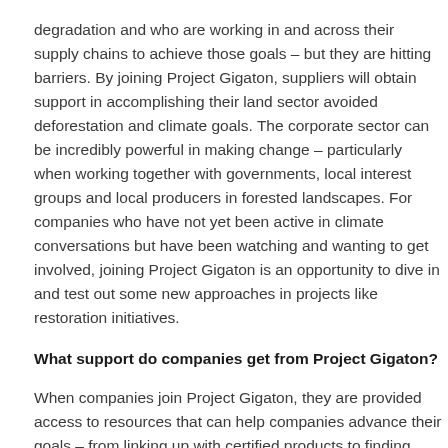degradation and who are working in and across their supply chains to achieve those goals – but they are hitting barriers. By joining Project Gigaton, suppliers will obtain support in accomplishing their land sector avoided deforestation and climate goals. The corporate sector can be incredibly powerful in making change – particularly when working together with governments, local interest groups and local producers in forested landscapes. For companies who have not yet been active in climate conversations but have been watching and wanting to get involved, joining Project Gigaton is an opportunity to dive in and test out some new approaches in projects like restoration initiatives.
What support do companies get from Project Gigaton?
When companies join Project Gigaton, they are provided access to resources that can help companies advance their goals – from linking up with certified products to finding new verification and validation tools. Companies are also able to